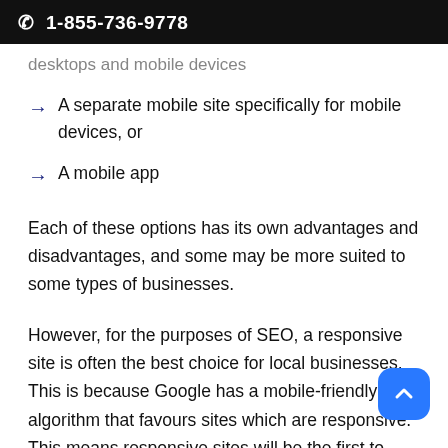☎ 1-855-736-9778
desktops and mobile devices
→ A separate mobile site specifically for mobile devices, or
→ A mobile app
Each of these options has its own advantages and disadvantages, and some may be more suited to some types of businesses.
However, for the purposes of SEO, a responsive site is often the best choice for local businesses. This is because Google has a mobile-friendly algorithm that favours sites which are responsive. This means responsive sites will be the first to show up in many Google searches. If you want your site to be seen on